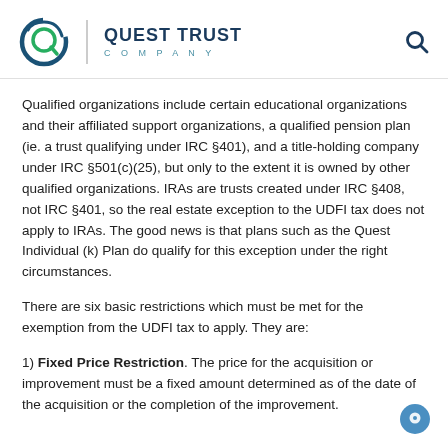Quest Trust Company
Qualified organizations include certain educational organizations and their affiliated support organizations, a qualified pension plan (ie. a trust qualifying under IRC §401), and a title-holding company under IRC §501(c)(25), but only to the extent it is owned by other qualified organizations. IRAs are trusts created under IRC §408, not IRC §401, so the real estate exception to the UDFI tax does not apply to IRAs. The good news is that plans such as the Quest Individual (k) Plan do qualify for this exception under the right circumstances.
There are six basic restrictions which must be met for the exemption from the UDFI tax to apply. They are:
1) Fixed Price Restriction. The price for the acquisition or improvement must be a fixed amount determined as of the date of the acquisition or the completion of the improvement.